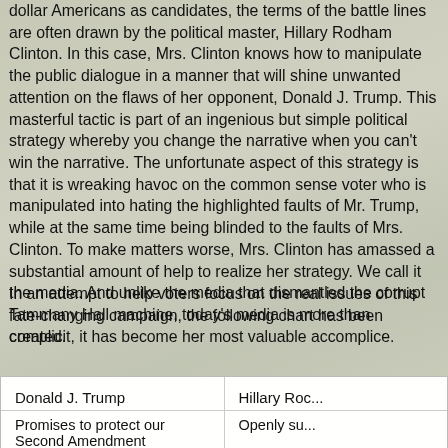dollar Americans as candidates, the terms of the battle lines are often drawn by the political master, Hillary Rodham Clinton. In this case, Mrs. Clinton knows how to manipulate the public dialogue in a manner that will shine unwanted attention on the flaws of her opponent, Donald J. Trump. This masterful tactic is part of an ingenious but simple political strategy whereby you change the narrative when you can't win the narrative. The unfortunate aspect of this strategy is that it is wreaking havoc on the common sense voter who is manipulated into hating the highlighted faults of Mr. Trump, while at the same time being blinded to the faults of Mrs. Clinton. To make matters worse, Mrs. Clinton has amassed a substantial amount of help to realize her strategy. We call it the media. And unlike the media that dismantled the corrupt Tammany Hall machine, today's media is more than complicit, it has become her most valuable accomplice.
In an attempt to help voters focus on the real issues of this fate-changing campaign, the following chart has been created.
| Donald J. Trump | Hillary Roc... |
| --- | --- |
| Promises to protect our Second Amendment | Openly su... |